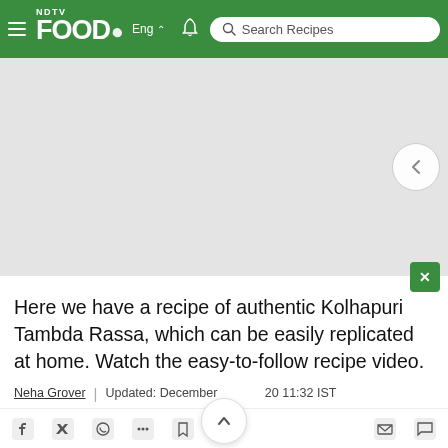NDTV Food | Eng | Search Recipes
[Figure (screenshot): Gray placeholder image area for a recipe video, with a circular back button on the right side.]
Here we have a recipe of authentic Kolhapuri Tambda Rassa, which can be easily replicated at home. Watch the easy-to-follow recipe video.
Neha Grover | Updated: December 20 11:32 IST